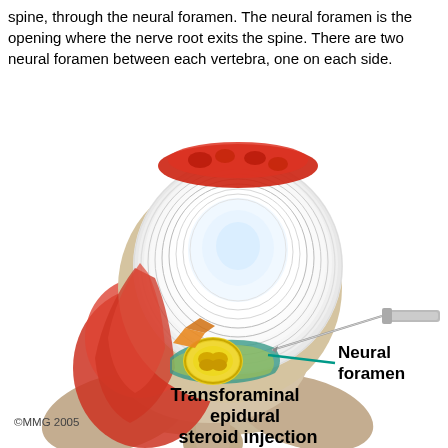spine, through the neural foramen. The neural foramen is the opening where the nerve root exits the spine. There are two neural foramen between each vertebra, one on each side.
[Figure (illustration): Medical illustration of a vertebra cross-section showing a transforaminal epidural steroid injection. A needle is inserted from the right side through the neural foramen. The vertebra shows the intervertebral disc (white, with concentric rings), red inflamed tissue, a yellow spinal cord cross-section surrounded by teal/green ligament, and beige bone. Labels indicate 'Neural foramen' with a teal pointer line, and 'Transforaminal epidural steroid injection' in bold black text at bottom right. Copyright mark '©MMG 2005' at bottom left.]